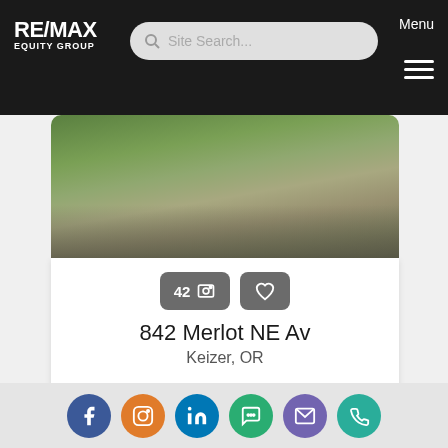RE/MAX EQUITY GROUP — Site Search — Menu
[Figure (photo): Aerial/street view photo of residential property lawn and street]
42 📷 ♡
842 Merlot NE Av
Keizer, OR
3 Beds
2 Baths
1,911 Home (sqft)
6,099 Lot (sqft)
Listing courtesy of SUNDANCE REALTY LLC
[Figure (photo): Exterior photo of residential house with $620,000 price tag and RMLS badge]
[Figure (infographic): Social media icon bar: Facebook, Instagram, LinkedIn, Messaging, Email, Phone]